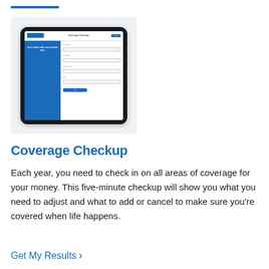[Figure (screenshot): Screenshot of a tablet showing the Ramsey Coverage Checkup form with the text 'Let's start with some basic info.' on a blue and white interface]
Coverage Checkup
Each year, you need to check in on all areas of coverage for your money. This five-minute checkup will show you what you need to adjust and what to add or cancel to make sure you're covered when life happens.
Get My Results >